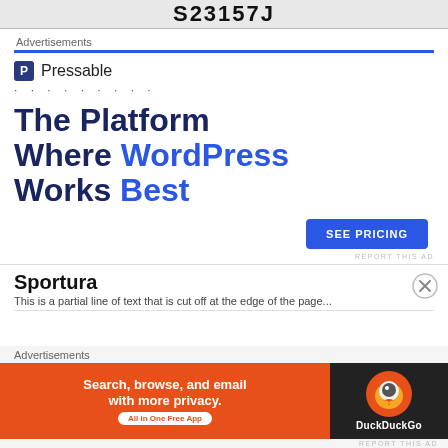[Figure (screenshot): Top banner showing code/ID 'S23157J' in bold black text on light grey background]
Advertisements
[Figure (screenshot): Pressable advertisement: Logo with 'P' icon and 'Pressable' text, dotted line, large headline 'The Platform Where WordPress Works Best', blue 'SEE PRICING' button, 'REPORT THIS AD' text]
REPORT THIS AD
Sportura
Advertisements
[Figure (screenshot): DuckDuckGo advertisement banner: orange section with 'Search, browse, and email with more privacy. All in One Free App' and dark section with DuckDuckGo duck logo and brand name]